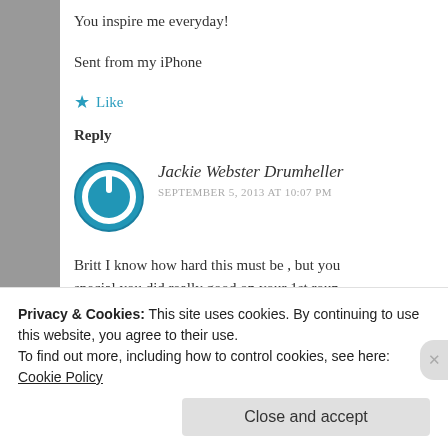You inspire me everyday!
Sent from my iPhone
★ Like
Reply
[Figure (illustration): Blue circular power button icon avatar for Jackie Webster Drumheller]
Jackie Webster Drumheller
SEPTEMBER 5, 2013 AT 10:07 PM
Britt I know how hard this must be , but you special you did really good on your 1st roun
Privacy & Cookies: This site uses cookies. By continuing to use this website, you agree to their use.
To find out more, including how to control cookies, see here: Cookie Policy
Close and accept